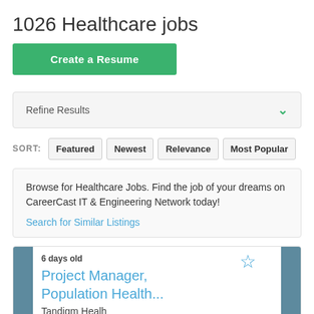1026 Healthcare jobs
Create a Resume
Refine Results
SORT: Featured  Newest  Relevance  Most Popular
Browse for Healthcare Jobs. Find the job of your dreams on CareerCast IT & Engineering Network today! Search for Similar Listings
6 days old
Project Manager, Population Health...
Tandigm Healh
West Conshohocken, Pennsylvania Work Remotely